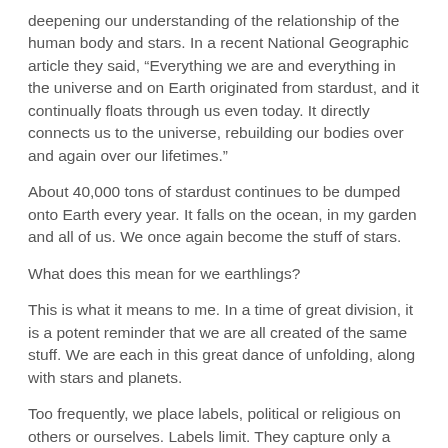deepening our understanding of the relationship of the human body and stars. In a recent National Geographic article they said, “Everything we are and everything in the universe and on Earth originated from stardust, and it continually floats through us even today. It directly connects us to the universe, rebuilding our bodies over and again over our lifetimes.”
About 40,000 tons of stardust continues to be dumped onto Earth every year. It falls on the ocean, in my garden and all of us. We once again become the stuff of stars.
What does this mean for we earthlings?
This is what it means to me. In a time of great division, it is a potent reminder that we are all created of the same stuff. We are each in this great dance of unfolding, along with stars and planets.
Too frequently, we place labels, political or religious on others or ourselves. Labels limit. They capture only a small definition of who we are. This information reminds me that we are bigger than any of these labels. What connects us to each other, and the universe is in the very cells of our body.